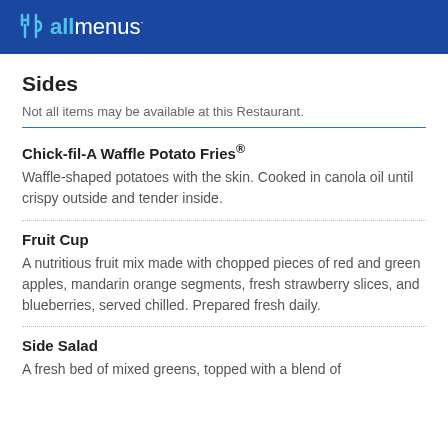allmenus
Sides
Not all items may be available at this Restaurant.
Chick-fil-A Waffle Potato Fries®
Waffle-shaped potatoes with the skin. Cooked in canola oil until crispy outside and tender inside.
Fruit Cup
A nutritious fruit mix made with chopped pieces of red and green apples, mandarin orange segments, fresh strawberry slices, and blueberries, served chilled. Prepared fresh daily.
Side Salad
A fresh bed of mixed greens, topped with a blend of